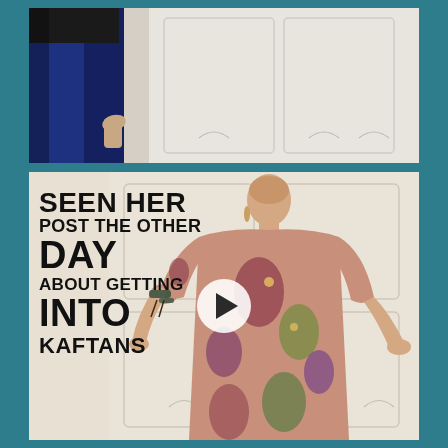[Figure (screenshot): Top video frame showing a person in blue jeans and black top, standing near a white paneled wardrobe/cabinet. Only lower body and one hand visible.]
[Figure (screenshot): Bottom video frame showing a slim woman standing in front of a white paneled door/wardrobe, wearing a floral kaftan dress in pink/terracotta with colorful floral print. Text overlay on left reads 'SEEN HER POST THE OTHER DAY ABOUT GETTING INTO KAFTANS'. A circular white play button is visible in the center.]
SEEN HER POST THE OTHER DAY ABOUT GETTING INTO KAFTANS